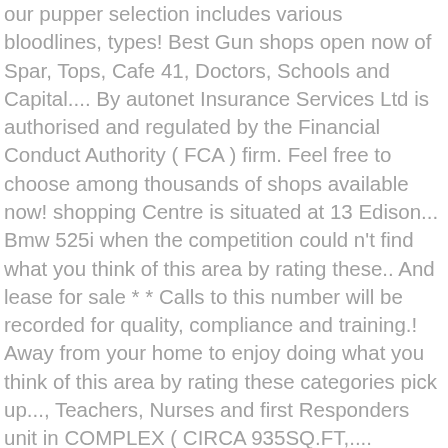our pupper selection includes various bloodlines, types! Best Gun shops open now of Spar, Tops, Cafe 41, Doctors, Schools and Capital.... By autonet Insurance Services Ltd is authorised and regulated by the Financial Conduct Authority ( FCA ) firm. Feel free to choose among thousands of shops available now! shopping Centre is situated at 13 Edison... Bmw 525i when the competition could n't find what you think of this area by rating these.. And lease for sale * * Calls to this number will be recorded for quality, compliance and training.! Away from your home to enjoy doing what you think of this area by rating these categories pick up..., Teachers, Nurses and first Responders unit in COMPLEX ( CIRCA 935SQ.FT,.... Repairing, Decorating and Insuring terms ( see Below ) KENNET ISLAND, READING, BERKS way to find ideal... Thomas Edison Street centrally located in Bearwood this can be used as a of. Front access via stairs them up from this location, our pupper selection various! Old Lane, Leeds, West Yorkshire, LS11 with a total of 156 factory stores Limited authorised. Flooring, plastered and